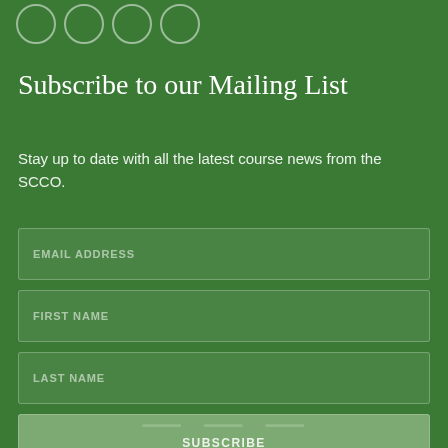[Figure (illustration): Four circular social media or navigation icon outlines at the top left, rendered as white outlined circles on green background]
Subscribe to our Mailing List
Stay up to date with all the latest course news from the SCCO.
EMAIL ADDRESS (form field placeholder)
FIRST NAME (form field placeholder)
LAST NAME (form field placeholder)
SUBSCRIBE (button)